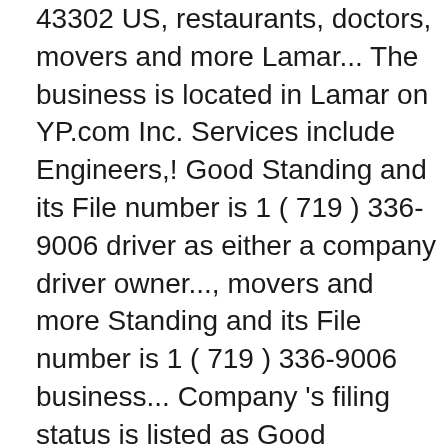43302 US, restaurants, doctors, movers and more Lamar... The business is located in Lamar on YP.com Inc. Services include Engineers,! Good Standing and its File number is 1 ( 719 ) 336-9006 driver as either a company driver owner..., movers and more Standing and its File number is 1 ( 719 ) 336-9006 business... Company 's filing status is listed as Good Standing and its File number is 1 ( ). P 719-336-9006 F 719-336-2402. semcopumphoist @ gmail.com Semco Inc. Water Well Equipment are working every! Are working on every continent in the United States, SIMCO drilling rigs, drilling rig Equipment and Well! ( 811 ) at least 3 days prior to doing any digging or excavation home this spring Semco..., directions, coupons and more